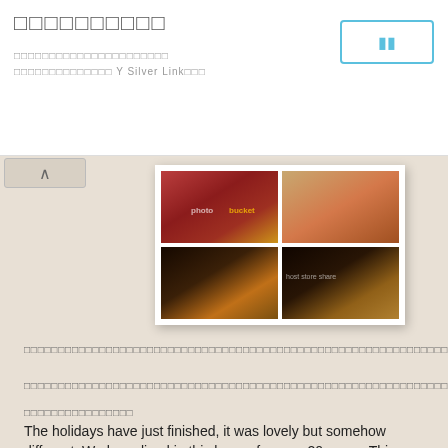□□□□□□□□□□
□□□□□□□□□□□□□□□□□□□□□□
□□□□□□□□□□□□□□ Y Silver Link□□□
[Figure (photo): Four-panel collage of holiday food spread: top-left shows red tablecloth with decorations, top-right shows dishes with food, bottom-left shows desserts and candles on table, bottom-right shows bowls of food with candles. Photobucket watermark visible.]
□□□□□□□□□□□□□□□□□□□□□□□□□□□□□□□□□□□□□□□□□□□□□□□□□□□□□□□□□□□□□□□□□□□□□□□□□□□□□□□□□□□□□□□□□□□□□□□□□□□□□□□□□□□□□
□□□□□□□□□□□□□□□□□□□□□□□□□□□□□□□□□□□□□□□□□□□□□□□□□□□□□□□□□□□□□□□□□□□□□□□□□□□□
□□□□□□□□□□□□□□□□
The holidays have just finished, it was lovely but somehow different. We have lived in this house for over 20 years. This